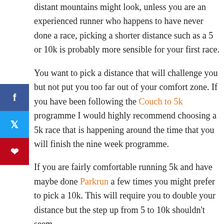distant mountains might look, unless you are an experienced runner who happens to have never done a race, picking a shorter distance such as a 5 or 10k is probably more sensible for your first race.
You want to pick a distance that will challenge you but not put you too far out of your comfort zone. If you have been following the Couch to 5k programme I would highly recommend choosing a 5k race that is happening around the time that you will finish the nine week programme.
If you are fairly comfortable running 5k and have maybe done Parkrun a few times you might prefer to pick a 10k. This will require you to double your distance but the step up from 5 to 10k shouldn't seem